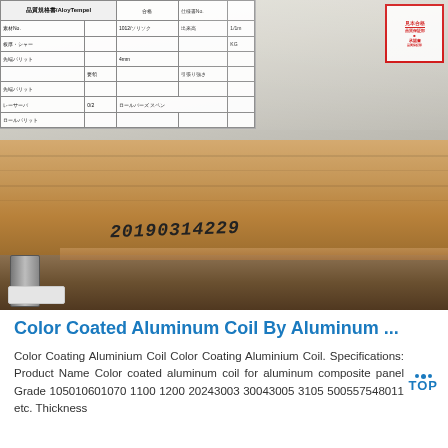[Figure (photo): Photograph of aluminum coil packaging on wooden crate. A white label/document with Japanese text and a table is visible in the upper left. A serial number '20190314229' is stamped on the wooden edge. A handwritten marking appears on the upper right area of the aluminum surface. Metal bracket and wooden support structure are visible.]
Color Coated Aluminum Coil By Aluminum ...
Color Coating Aluminium Coil Color Coating Aluminium Coil. Specifications: Product Name Color coated aluminum coil for aluminum composite panel Grade 105010601070 1100 1200 20243003 30043005 3105 500557548011 etc. Thickness